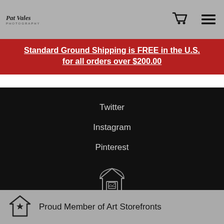Pat Vales Photography
Standard Ground Shipping is FREE in the U.S. for all orders over $200.00
Twitter
Instagram
Pinterest
[Figure (logo): Art Storefronts house/gallery icon]
Proud Member of Art Storefronts
[Figure (logo): Art Storefronts badge icon with star]
Proud Member of Art Storefronts